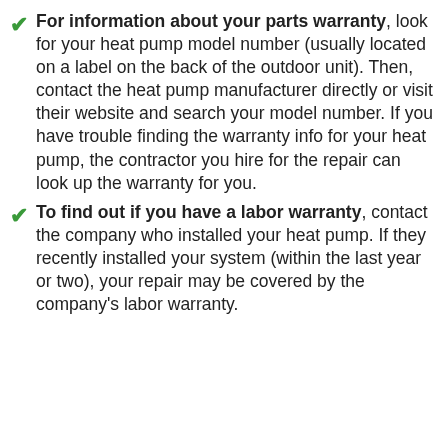For information about your parts warranty, look for your heat pump model number (usually located on a label on the back of the outdoor unit). Then, contact the heat pump manufacturer directly or visit their website and search your model number. If you have trouble finding the warranty info for your heat pump, the contractor you hire for the repair can look up the warranty for you.
To find out if you have a labor warranty, contact the company who installed your heat pump. If they recently installed your system (within the last year or two), your repair may be covered by the company's labor warranty.